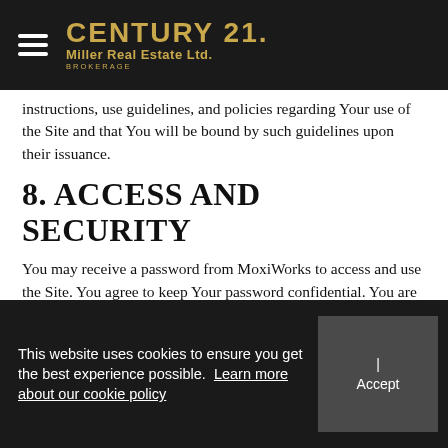CENTURY 21. Miller Real Estate Ltd. BROKERAGE
instructions, use guidelines, and policies regarding Your use of the Site and that You will be bound by such guidelines upon their issuance.
8. ACCESS AND SECURITY
You may receive a password from MoxiWorks to access and use the Site. You agree to keep Your password confidential. You are fully responsible for all activities that occur under Your password on the Site. You agree to immediately notify MoxiWorks of any unauthorized uses of the Site or any other breaches of security of which You become aware. You acknowledge and agree that MoxiWorks will not be liable for Your acts or omissions or those of any user of the Site to
This website uses cookies to ensure you get the best experience possible. Learn more about our cookie policy | Accept